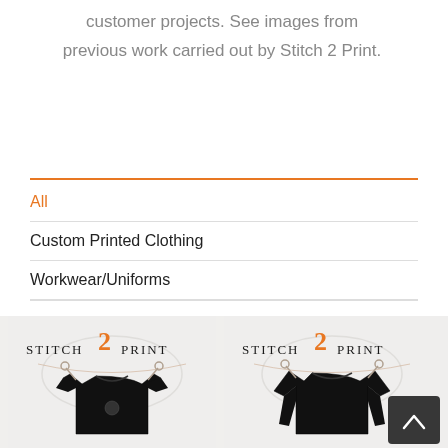customer projects. See images from previous work carried out by Stitch 2 Print.
All
Custom Printed Clothing
Workwear/Uniforms
[Figure (photo): Stitch 2 Print logo with a black short-sleeve sports shirt displayed on a hanger, set against a light grey background.]
[Figure (photo): Stitch 2 Print logo with a black long-sleeve sports shirt displayed on a hanger, set against a light grey background. A dark overlay with an upward arrow (scroll-to-top button) is visible.]